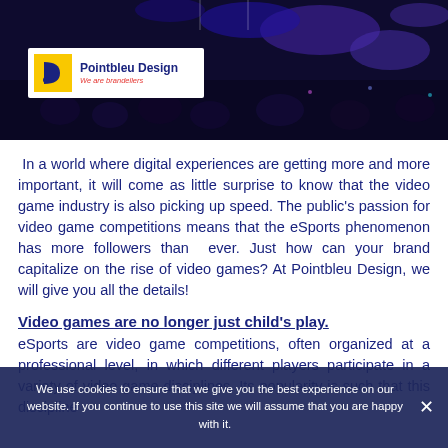[Figure (photo): Dark banner image of an esports/gaming event crowd with blue/purple lighting, with Pointbleu Design logo overlay in white box showing yellow D icon.]
In a world where digital experiences are getting more and more important, it will come as little surprise to know that the video game industry is also picking up speed. The public's passion for video game competitions means that the eSports phenomenon has more followers than ever. Just how can your brand capitalize on the rise of video games? At Pointbleu Design, we will give you all the details!
Video games are no longer just child's play.
eSports are video game competitions, often organized at a professional level, in which different players participate in a variety of video game disciplines. Its popularity is such that this discipline
We use cookies to ensure that we give you the best experience on our website. If you continue to use this site we will assume that you are happy with it.